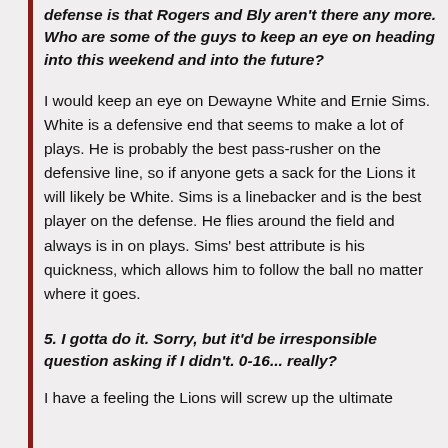defense is that Rogers and Bly aren't there any more. Who are some of the guys to keep an eye on heading into this weekend and into the future?
I would keep an eye on Dewayne White and Ernie Sims. White is a defensive end that seems to make a lot of plays. He is probably the best pass-rusher on the defensive line, so if anyone gets a sack for the Lions it will likely be White. Sims is a linebacker and is the best player on the defense. He flies around the field and always is in on plays. Sims' best attribute is his quickness, which allows him to follow the ball no matter where it goes.
5. I gotta do it. Sorry, but it'd be irresponsible question asking if I didn't. 0-16... really?
I have a feeling the Lions will screw up the ultimate